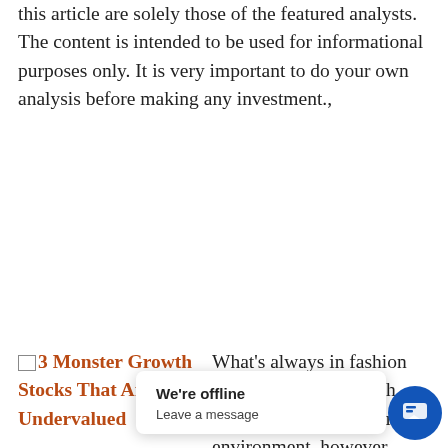this article are solely those of the featured analysts. The content is intended to be used for informational purposes only. It is very important to do your own analysis before making any investment.,
[Figure (other): Broken image thumbnail for article '3 Monster Growth Stocks That Are Still Undervalued']
3 Monster Growth Stocks That Are Still Undervalued
What's always in fashion on Wall Street? Growth. Given the current macro environment, however, compelling growth stocks have become even harder to spot. That said, despite the wild ride that has been 2020, a select few names could still shine bright and reward investors han from the Stre just any old growth prospects, they are
We're offline
Leave a message